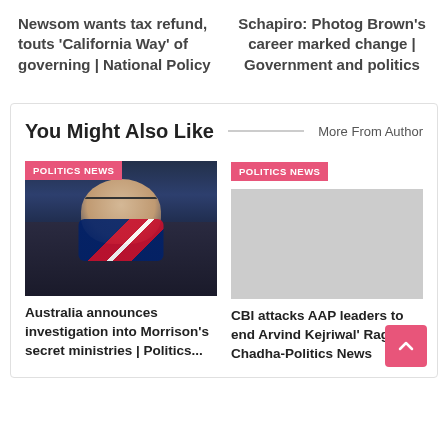Newsom wants tax refund, touts 'California Way' of governing | National Policy
Schapiro: Photog Brown's career marked change | Government and politics
You Might Also Like
More From Author
[Figure (photo): Man wearing an Australian flag face mask, likely Scott Morrison]
POLITICS NEWS
POLITICS NEWS
Australia announces investigation into Morrison's secret ministries | Politics...
CBI attacks AAP leaders to end Arvind Kejriwal' Raghav Chadha-Politics News